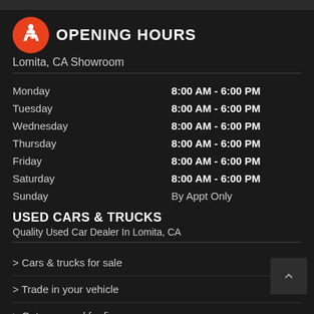OPENING HOURS
Lomita, CA Showroom
| Day | Hours |
| --- | --- |
| Monday | 8:00 AM - 6:00 PM |
| Tuesday | 8:00 AM - 6:00 PM |
| Wednesday | 8:00 AM - 6:00 PM |
| Thursday | 8:00 AM - 6:00 PM |
| Friday | 8:00 AM - 6:00 PM |
| Saturday | 8:00 AM - 6:00 PM |
| Sunday | By Appt Only |
USED CARS & TRUCKS
Quality Used Car Dealer In Lomita, CA
> Cars & trucks for sale
> Trade in your vehicle
> Get approved for finance